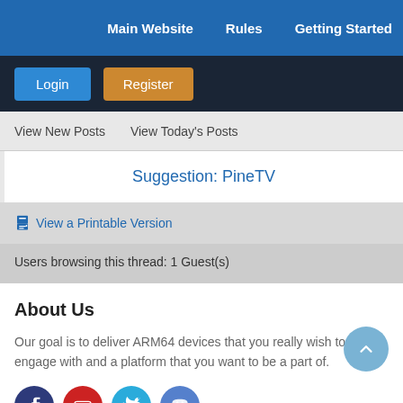Main Website  Rules  Getting Started
Login  Register
View New Posts  View Today's Posts
Suggestion: PineTV
View a Printable Version
Users browsing this thread: 1 Guest(s)
About Us
Our goal is to deliver ARM64 devices that you really wish to engage with and a platform that you want to be a part of.
[Figure (infographic): Social media icon buttons: Facebook (dark blue), YouTube (red), Twitter (light blue), Mastodon (medium blue)]